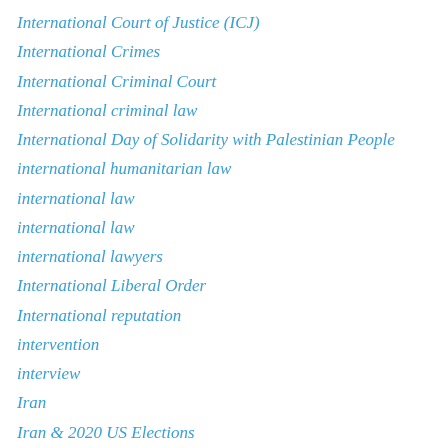International Court of Justice (ICJ)
International Crimes
International Criminal Court
International criminal law
International Day of Solidarity with Palestinian People
international humanitarian law
international law
international law
international lawyers
International Liberal Order
International reputation
intervention
interview
Iran
Iran & 2020 US Elections
Iran (1979)
Iran Counter-Measures
Iran diplomacy
Iran Nuclear Agreement
Iran nuclear diplomacy